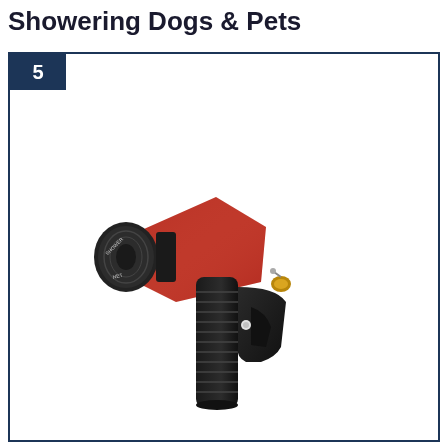Showering Dogs & Pets
[Figure (photo): A red and black multi-pattern garden hose spray nozzle gun with pistol grip handle, showing SHOWER and NET pattern settings on the rotating head, with a brass fitting connector and ribbed black grip handle.]